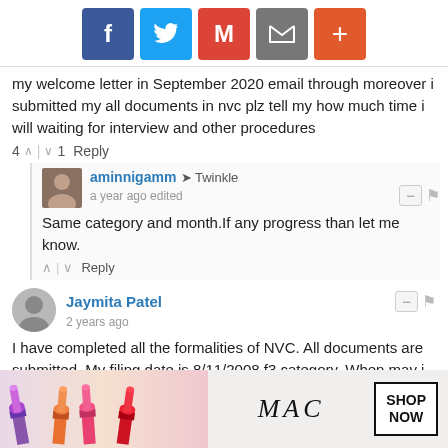[Figure (other): Social media share buttons: Facebook (blue), Twitter (light blue), Gmail (red), Email (gray), Plus/More (orange)]
my welcome letter in September 2020 email through moreover i submitted my all documents in nvc plz tell my how much time i will waiting for interview and other procedures
4 ^ | v 1  Reply
aminnigamm → Twinkle
a year ago edited
Same category and month.If any progress than let me know.
^ | v  Reply
Jaymita Patel
2 years ago
I have completed all the formalities of NVC. All documents are submitted. My filing date is 8/11/2008 f3 category. When may i get visa call?
[Figure (photo): MAC Cosmetics advertisement showing lipsticks in purple, orange, pink colors with MAC logo and SHOP NOW button. CLOSE button overlay visible.]